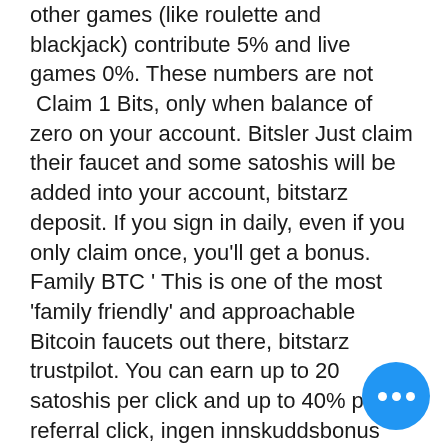other games (like roulette and blackjack) contribute 5% and live games 0%. These numbers are not
 Claim 1 Bits, only when balance of zero on your account. Bitsler Just claim their faucet and some satoshis will be added into your account, bitstarz deposit. If you sign in daily, even if you only claim once, you'll get a bonus. Family BTC ' This is one of the most 'family friendly' and approachable Bitcoin faucets out there, bitstarz trustpilot. You can earn up to 20 satoshis per click and up to 40% per referral click, ingen innskuddsbonus bitstarz. This website works just like PTC site in which advertiser buy and place ads and users earn a little bit of money by watching ads. The site also runs free weekly lotteries for which you get free tickets every time you ' or an individual referred to the site by you ' play one of the site's free Bitcoin games. Speaking of